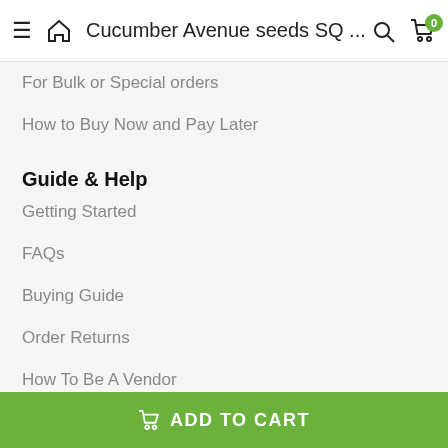Cucumber Avenue seeds SQ ...
For Bulk or Special orders
How to Buy Now and Pay Later
Guide & Help
Getting Started
FAQs
Buying Guide
Order Returns
How To Be A Vendor
Vendor Registration
Contact Info
ADD TO CART